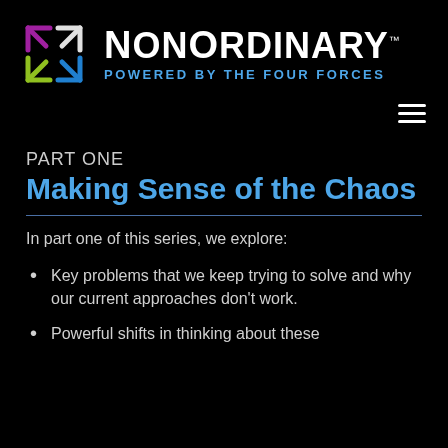[Figure (logo): NonOrdinary logo with colorful four-arrows icon and text 'NONORDINARY POWERED BY THE FOUR FORCES']
PART ONE
Making Sense of the Chaos
In part one of this series, we explore:
Key problems that we keep trying to solve and why our current approaches don't work.
Powerful shifts in thinking about these...